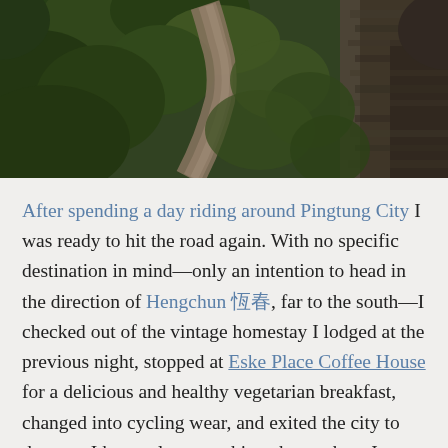[Figure (photo): Aerial/landscape photograph of a winding dirt path through dense green vegetation and rocky terrain, viewed from slightly above]
After spending a day riding around Pingtung City I was ready to hit the road again. With no specific destination in mind—only an intention to head in the direction of Hengchun 恆春, far to the south—I checked out of the vintage homestay I lodged at the previous night, stopped at Eske Place Coffee House for a delicious and healthy vegetarian breakfast, changed into cycling wear, and exited the city to the east. I knew almost nothing about where I was headed or what I might see on the third day of my southern Taiwan ride in 2015. I only had one stop planned in advance: a hospital in Chaozhou 潮州